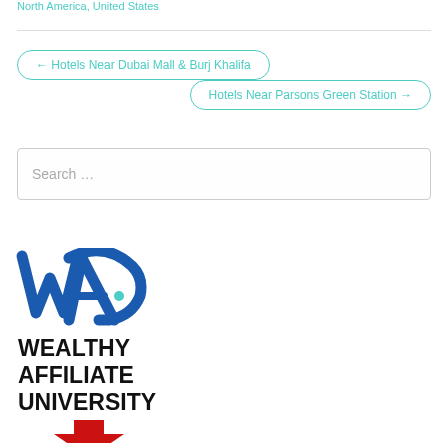North America, United States
← Hotels Near Dubai Mall & Burj Khalifa
Hotels Near Parsons Green Station →
Search …
[Figure (logo): Wealthy Affiliate University logo with WA monogram in blue and red downward arrow at bottom]